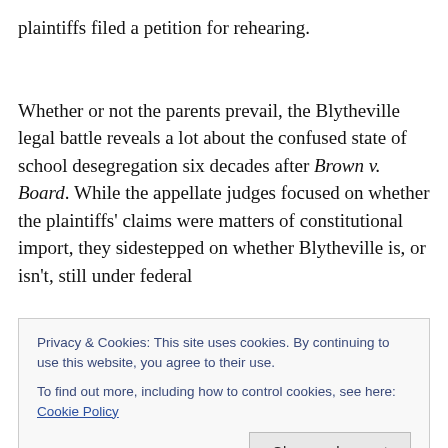plaintiffs filed a petition for rehearing.
Whether or not the parents prevail, the Blytheville legal battle reveals a lot about the confused state of school desegregation six decades after Brown v. Board. While the appellate judges focused on whether the plaintiffs' claims were matters of constitutional import, they sidestepped on whether Blytheville is, or isn't, still under federal
Privacy & Cookies: This site uses cookies. By continuing to use this website, you agree to their use.
To find out more, including how to control cookies, see here: Cookie Policy
and even legal experts have struggled to figure out exactly